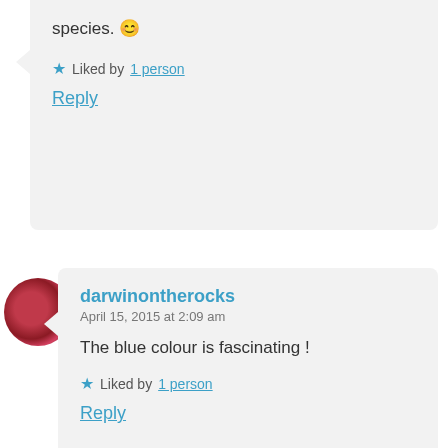species. 😊
★ Liked by 1 person
Reply
darwinontherocks
April 15, 2015 at 2:09 am
The blue colour is fascinating !
★ Liked by 1 person
Reply
Girl Gone Expat
April 20, 2015 at 5:08 pm
Thanks, it truly is. And it was even